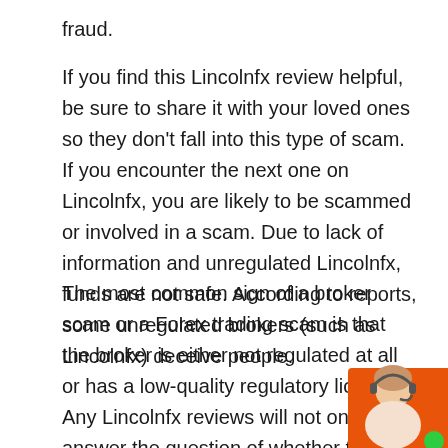fraud.
If you find this Lincolnfx review helpful, be sure to share it with your loved ones so they don't fall into this type of scam. If you encounter the next one on Lincolnfx, you are likely to be scammed or involved in a scam. Due to lack of information and unregulated Lincolnfx, funds are not safe. According to reports, some unregulated brokers (such as Lincolnfx) deceive people.
The most common sign of a broker scam or a Forex trading scam is that the broker is either not regulated at all or has a low-quality regulatory license. Any Lincolnfx reviews will not only answer the question of whether the broker is
[Figure (photo): A customer service representative (woman with headset) chat widget in the bottom right corner with an orange background and a green circle indicator.]